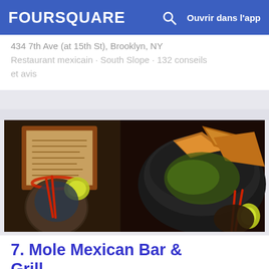FOURSQUARE  Ouvrir dans l'app
434 7th Ave (at 15th St), Brooklyn, NY
Restaurant mexicain · South Slope · 132 conseils et avis
[Figure (photo): Photo of Mexican food and drinks: margaritas with red salt rim and lime, and a molcajete bowl with tortilla chips and guacamole on a dark table]
7. Mole Mexican Bar & Grill
205 Allen St (at Houston St), New York, NY
Restaurant mexicain · Lower East Side · 50 conseils et avis